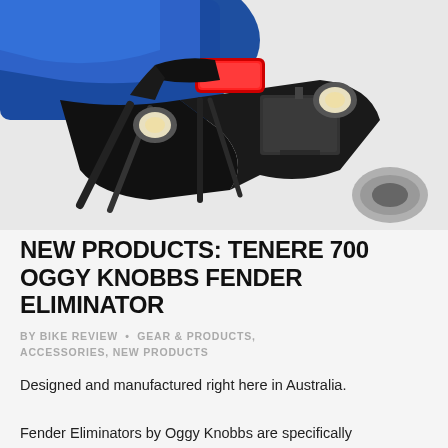[Figure (photo): Close-up photo of the rear end of a blue and black motorcycle (Yamaha Tenere 700) showing the tail light, turn signals, and a fender eliminator kit with license plate bracket mounted on the subframe.]
NEW PRODUCTS: TENERE 700 OGGY KNOBBS FENDER ELIMINATOR
BY BIKE REVIEW • GEAR & PRODUCTS, ACCESSORIES, NEW PRODUCTS
Designed and manufactured right here in Australia. Fender Eliminators by Oggy Knobbs are specifically designed to be compatible with all standard Australia motorcycles number plates without drilling to provide